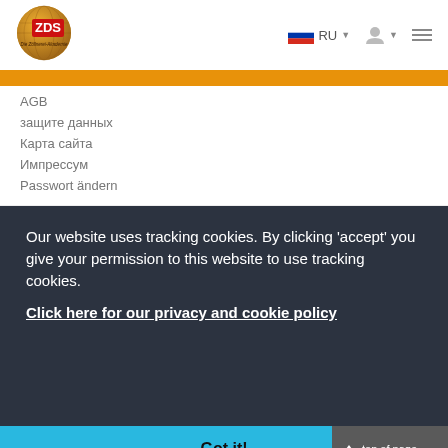[Figure (logo): ZDS Die Zöllnerei-Akademie logo — globe icon with ZDS text in red on gold background]
RU
AGB
защите данных
Карта сайта
Импрессум
Passwort ändern
Our website uses tracking cookies. By clicking 'accept' you give your permission to this website to use tracking cookies.
Click here for our privacy and cookie policy
Got it!